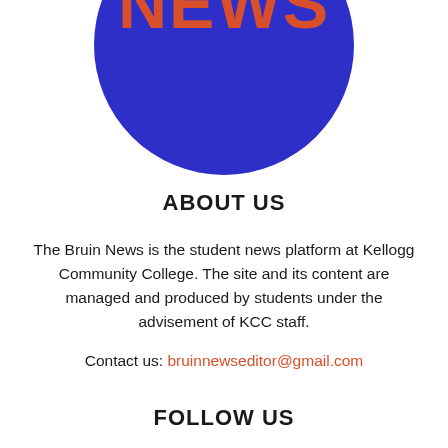[Figure (logo): Bruin News logo — dark blue circle with 'NEWS' text in bold orange/red letters, partially cropped at the top of the page]
ABOUT US
The Bruin News is the student news platform at Kellogg Community College. The site and its content are managed and produced by students under the advisement of KCC staff.
Contact us: bruinnewseditor@gmail.com
FOLLOW US